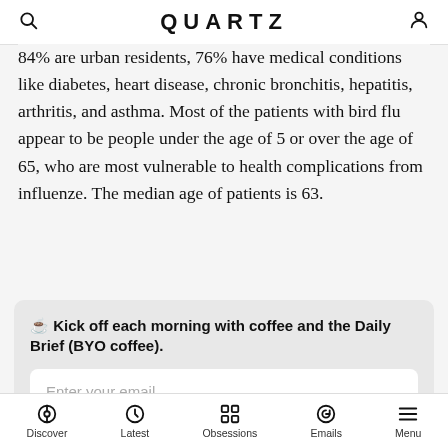QUARTZ
84% are urban residents, 76% have medical conditions like diabetes, heart disease, chronic bronchitis, hepatitis, arthritis, and asthma. Most of the patients with bird flu appear to be people under the age of 5 or over the age of 65, who are most vulnerable to health complications from influenze. The median age of patients is 63.
☕ Kick off each morning with coffee and the Daily Brief (BYO coffee).
Discover | Latest | Obsessions | Emails | Menu